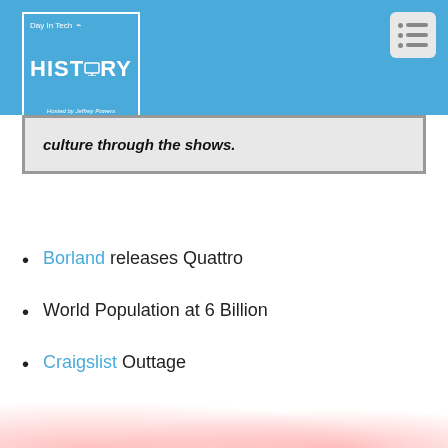[Figure (logo): Day In Tech HISTORY podcast logo — blue square with white border, white text reading 'Day In Tech' and 'HISTORY' with monitor icon, subtitle 'Hosted by Jeffrey Powers']
culture through the shows.
Borland releases Quattro
World Population at 6 Billion
Craigslist Outtage